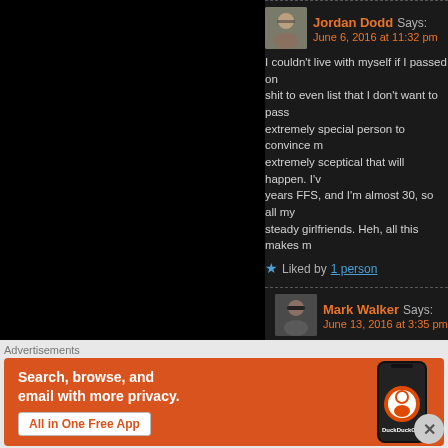Jordan Dodd Says: June 6, 2016 at 11:32 pm
I couldn't live with myself if I passed on... shit to even list that I don't want to pass... extremely special person to convince m... extremely sceptical that will happen. I'v... years FFS, and I'm almost 30, so all my... steady girlfriends. Heh, all this makes m...
Liked by 1 person
Mark Walker Says: June 13, 2016 at 3:35 pm
Ha! What animal would you choose?
Like
Advertisements
[Figure (infographic): DuckDuckGo advertisement banner with orange background, text 'Search, browse, and email with more privacy. All in One Free App' and a phone showing DuckDuckGo app]